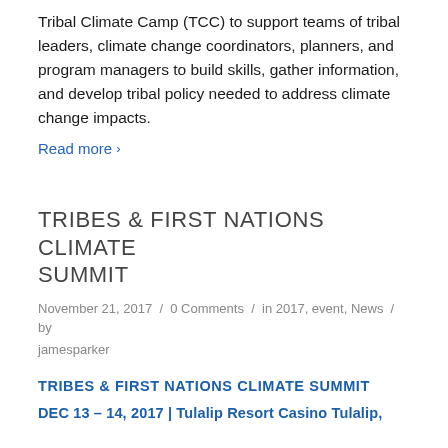Tribal Climate Camp (TCC) to support teams of tribal leaders, climate change coordinators, planners, and program managers to build skills, gather information, and develop tribal policy needed to address climate change impacts.
Read more ›
TRIBES & FIRST NATIONS CLIMATE SUMMIT
November 21, 2017 / 0 Comments / in 2017, event, News / by jamesparker
TRIBES & FIRST NATIONS CLIMATE SUMMIT
DEC 13 – 14, 2017 | Tulalip Resort Casino Tulalip,